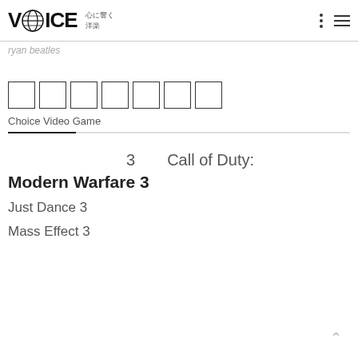VOICE 心に響く洋楽
ryan beatles
[Figure (other): Seven empty checkbox squares in a row]
Choice Video Game
3   Call of Duty: Modern Warfare 3
Just Dance 3
Mass Effect 3